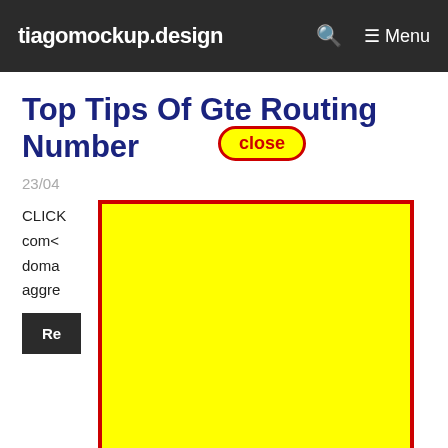tiagomockup.design  🔍  ≡ Menu
Top Tips Of Gte Routing Number
close
23/04
[Figure (other): Yellow advertisement box with red border overlay]
CLICK
com<
doma
aggre ne ...
Re